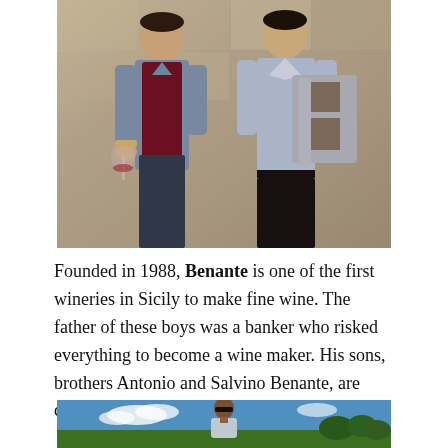[Figure (photo): Two men standing in a wine cellar. The man on the left holds a wine glass; the man on the right holds a large metal letter B. Stone wall background.]
Founded in 1988, Benante is one of the first wineries in Sicily to make fine wine. The father of these boys was a banker who risked everything to become a wine maker. His sons, brothers Antonio and Salvino Benante, are continuing his tradition.
[Figure (photo): A man wearing sunglasses standing outdoors against a blue sky with clouds, with green trees/vineyard in the background.]